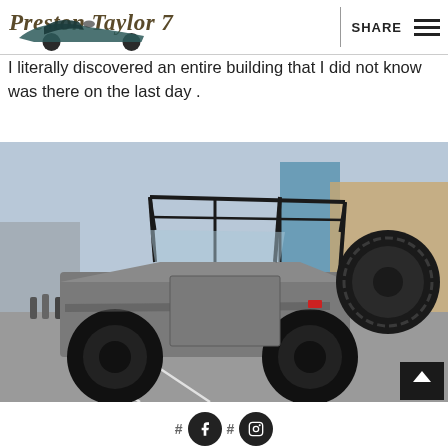[Figure (logo): Preston Taylor 77 logo with illustrated vintage race car silhouette in teal/dark color]
SHARE
I literally discovered an entire building that I did not know was there on the last day .
[Figure (photo): Custom lifted Ford Bronco with roll cage, large off-road tires and black wheels, matte gray paint, photographed in a parking lot with crowd and buildings in background]
[Figure (other): Social media footer with hashtag symbols and circular icons for Facebook and Instagram]